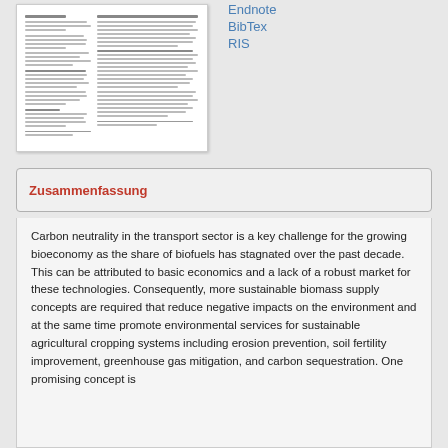[Figure (other): Thumbnail preview of a scientific document/paper showing two-column text layout with title, abstract, and body text sections]
Endnote
BibTex
RIS
Zusammenfassung
Carbon neutrality in the transport sector is a key challenge for the growing bioeconomy as the share of biofuels has stagnated over the past decade. This can be attributed to basic economics and a lack of a robust market for these technologies. Consequently, more sustainable biomass supply concepts are required that reduce negative impacts on the environment and at the same time promote environmental services for sustainable agricultural cropping systems including erosion prevention, soil fertility improvement, greenhouse gas mitigation, and carbon sequestration. One promising concept is